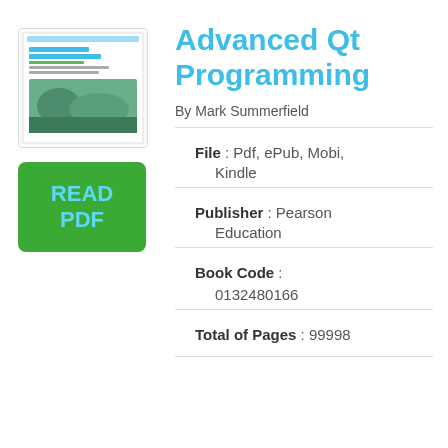[Figure (illustration): Thumbnail of book cover for Advanced Qt Programming by Mark Summerfield, showing title text and a nature/hands image]
[Figure (other): Green button with cyan text reading READ PDF]
Advanced Qt Programming
By Mark Summerfield
File : Pdf, ePub, Mobi, Kindle
Publisher : Pearson Education
Book Code : 0132480166
Total of Pages : 99998